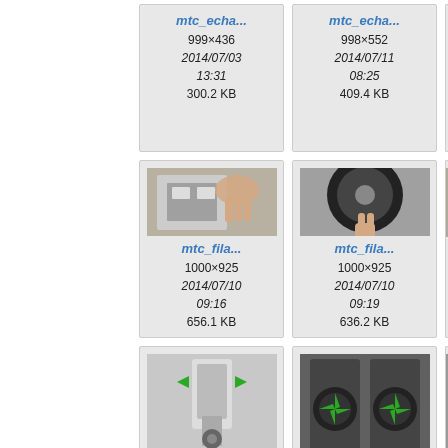[Figure (screenshot): File browser grid showing image thumbnails with filenames mtc_echa... and mtc_fila..., metadata including dimensions, date/time, and file size. Partial view of 3 columns of image cards.]
mtc_echa...
999×436
2014/07/03 13:31
300.2 KB
mtc_echa...
998×552
2014/07/11 08:25
409.4 KB
mtc_fila...
1000×925
2014/07/10 09:16
656.1 KB
mtc_fila...
1000×925
2014/07/10 09:19
636.2 KB